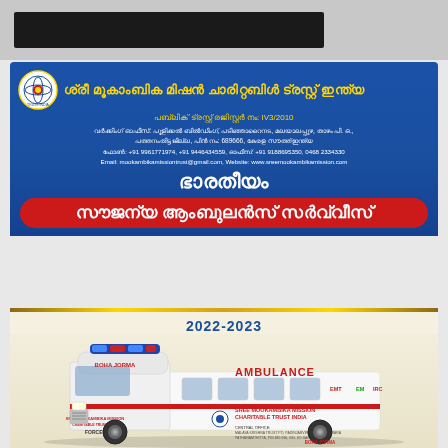[Figure (other): Top gray header bar with black strip]
ശ്രീ മൂകാംബിക മിഷൻ ചാരിറ്റബിൾ ട്രസ്റ്റ് ഇന്ത്യ
പബ്ലിക് ട്രസ്റ്റ് രജിസ്റ്റർ നം: IV3/2010
വർക്കിംഗ് ഓഫീസ്: പൂളിക്കൽ ബിൽഡിംഗ്, പടിഞ്ഞാറൈനട, മലയാലപ്പുഴ, താഴം പി. ഒ., പത്തനംതിട്ട ജില്ല, പിൻ നം: 689666, കേരള സൗത്ത് ഇന്ത്യ
ഫോൺ: +91 9961771974, +91 9446434559, ഓഫീസ്: +91 9188695350, 0468 2334330
Email: mookambikamissiontrust@gmail.com, Website: www.sreemookambikamission.com
ഭാരതീയം സൗജന്യ ആംബുലൻസ് സർവ്വീസ്
2022-2023
[Figure (photo): White ambulance van with AMBULANCE text, SREE MOOKAMBIKA MISSION CHARITABLE TRUST INDIA branding and CENTRAL OFFICE text on the side]